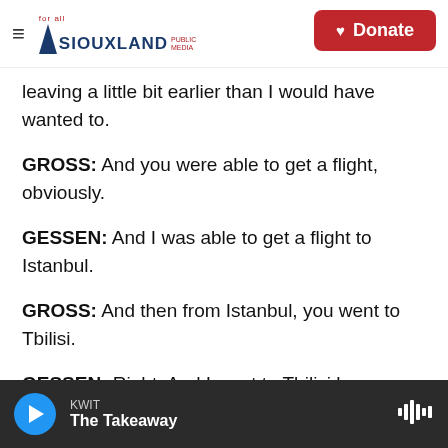Siouxland Public Media — for all | Donate
leaving a little bit earlier than I would have wanted to.
GROSS: And you were able to get a flight, obviously.
GESSEN: And I was able to get a flight to Istanbul.
GROSS: And then from Istanbul, you went to Tbilisi.
GESSEN: Right. And I went to Tbilisi because so many Russians have landed here, and it's such sort of a weird and sad and volatile cultural and political situation with this tiny country that also is partially
KWIT — The Takeaway